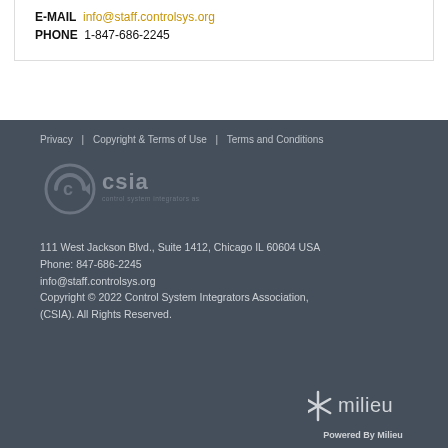E-MAIL  info@staff.controlsys.org
PHONE  1-847-686-2245
Privacy | Copyright & Terms of Use | Terms and Conditions
[Figure (logo): CSIA - Control System Integrators Association logo in grey tones]
111 West Jackson Blvd., Suite 1412, Chicago IL 60604 USA
Phone: 847-686-2245
info@staff.controlsys.org
Copyright © 2022 Control System Integrators Association, (CSIA). All Rights Reserved.
[Figure (logo): Milieu logo - asterisk/star symbol followed by 'milieu' text in white/grey]
Powered By Milieu